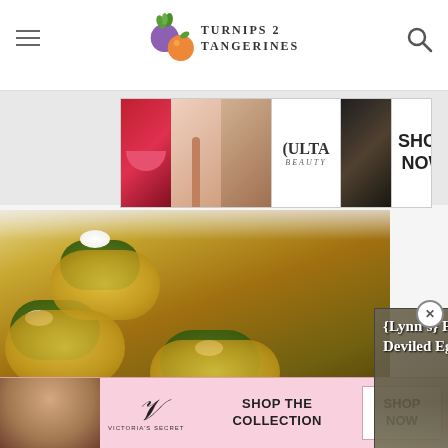Turnips 2 Tangerines
[Figure (photo): Ulta Beauty advertisement with makeup photos and SHOP NOW button]
[Figure (photo): Deviled eggs food photo on decorative white plate with pesto and cream topping]
[Figure (screenshot): Video overlay: Lynn's Famous Deviled Eggs with play button and CLOSE button]
[Figure (photo): Victoria's Secret advertisement - SHOP THE COLLECTION, SHOP NOW]